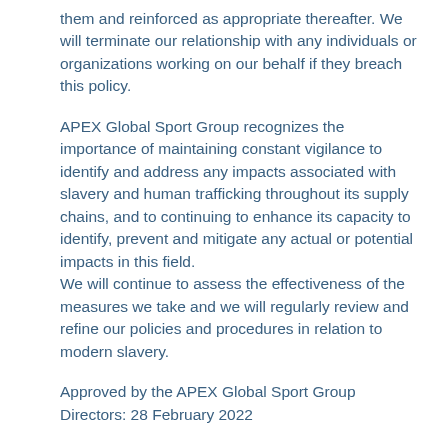them and reinforced as appropriate thereafter. We will terminate our relationship with any individuals or organizations working on our behalf if they breach this policy.
APEX Global Sport Group recognizes the importance of maintaining constant vigilance to identify and address any impacts associated with slavery and human trafficking throughout its supply chains, and to continuing to enhance its capacity to identify, prevent and mitigate any actual or potential impacts in this field.
We will continue to assess the effectiveness of the measures we take and we will regularly review and refine our policies and procedures in relation to modern slavery.
Approved by the APEX Global Sport Group Directors: 28 February 2022